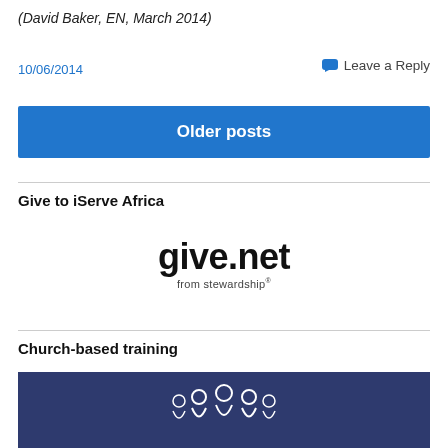(David Baker, EN, March 2014)
10/06/2014
Leave a Reply
Older posts
Give to iServe Africa
[Figure (logo): give.net from stewardship logo — bold black 'give.net' text with smaller 'from stewardship' subtitle]
Church-based training
[Figure (illustration): Dark navy blue banner image with outline figures of people grouped together suggesting church community training]